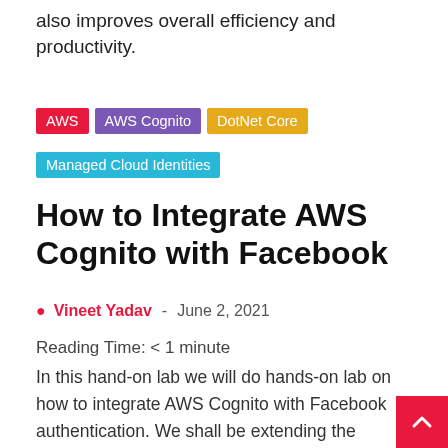also improves overall efficiency and productivity.
AWS | AWS Cognito | DotNet Core | Managed Cloud Identities
How to Integrate AWS Cognito with Facebook
Vineet Yadav - June 2, 2021
Reading Time: < 1 minute
In this hand-on lab we will do hands-on lab on how to integrate AWS Cognito with Facebook authentication. We shall be extending the application we built in initial labs and add facebook authentication in this video. Please refer to the earlier video and post for more context. This is an extension to previous lab.